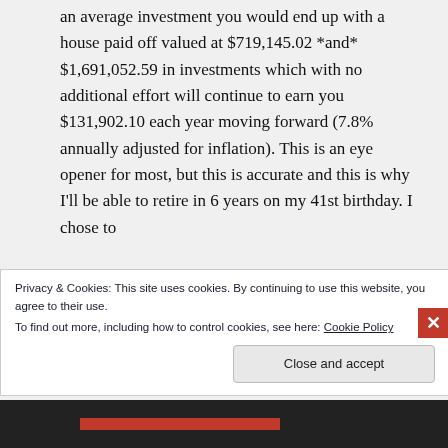an average investment you would end up with a house paid off valued at $719,145.02 *and* $1,691,052.59 in investments which with no additional effort will continue to earn you $131,902.10 each year moving forward (7.8% annually adjusted for inflation). This is an eye opener for most, but this is accurate and this is why I'll be able to retire in 6 years on my 41st birthday. I chose to
Privacy & Cookies: This site uses cookies. By continuing to use this website, you agree to their use.
To find out more, including how to control cookies, see here: Cookie Policy
Close and accept